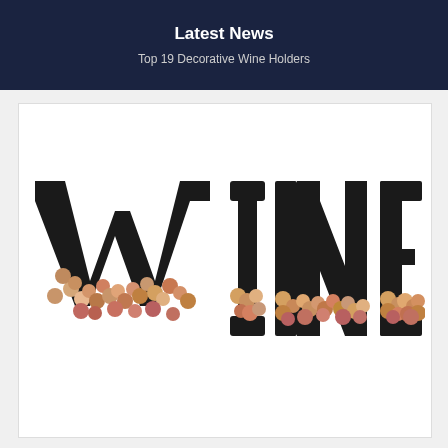Latest News
Top 19 Decorative Wine Holders
[Figure (photo): Decorative WINE letter holders made of black metal, filled with wine corks arranged inside the hollow letter shapes spelling WINE]